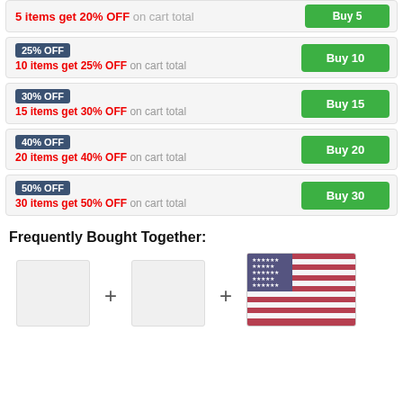5 items get 20% OFF on cart total / Buy 5
25% OFF / 10 items get 25% OFF on cart total / Buy 10
30% OFF / 15 items get 30% OFF on cart total / Buy 15
40% OFF / 20 items get 40% OFF on cart total / Buy 20
50% OFF / 30 items get 50% OFF on cart total / Buy 30
Frequently Bought Together:
[Figure (photo): US flag print fabric swatch, partially visible at bottom right]